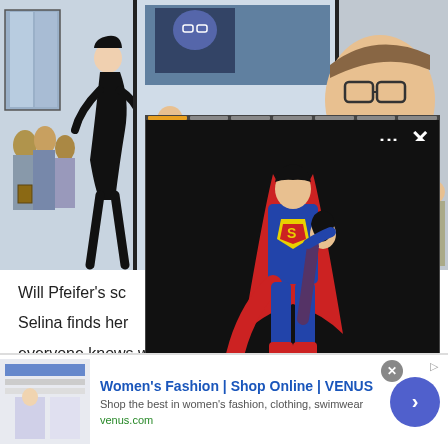[Figure (illustration): Comic book panels showing characters in various scenes: a figure in black outfit leaning over someone on the ground (left panel), characters in a conference or public space (center panel), and a close-up of a man with glasses and crowd (right panel)]
[Figure (photo): Popup overlay ad showing a Superman statue/figurine holding a woman, with a gold circle arrow button. Title: IronStudiosannouncesnewSu...]
Will Pfeifer's sc...
Selina finds her...
everyone knows who she is, along with Batman and his...
[Figure (screenshot): Bottom advertisement banner for VENUS women's fashion. Shows thumbnail of fashion website, headline 'Women's Fashion | Shop Online | VENUS', description 'Shop the best in women's fashion, clothing, swimwear', URL 'venus.com', and a blue circular CTA button with arrow]